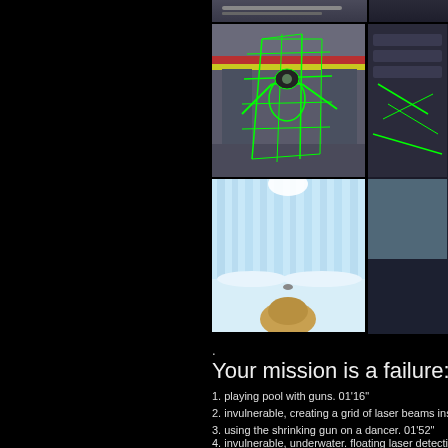[Figure (screenshot): Grid of video game screenshots from Duke Nukem, showing: top strip of industrial-looking game environment, middle-left showing character surrounded by green laser grid wireframe, middle-right showing similar scene, bottom-left showing snowy/icy underwater environment with character visible, bottom-right partially visible similar scene.]
.
Your mission is a failure: Duke N
1. playing pool with guns. 01'16"
2. invulnerable, creating a grid of laser beams inside
3. using the shrinking gun on a dancer. 01'52"
4. invulnerable, underwater. floating laser detection